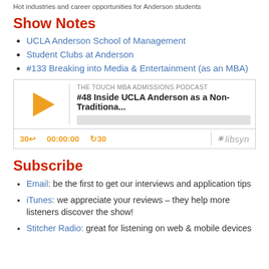Hot industries and career opportunities for Anderson students
Show Notes
UCLA Anderson School of Management
Student Clubs at Anderson
#133 Breaking into Media & Entertainment (as an MBA)
[Figure (screenshot): Podcast player widget for 'The Touch MBA Admissions Podcast', episode '#48 Inside UCLA Anderson as a Non-Traditiona...', showing a play button, progress bar, controls with 30s back, 00:00:00 timer, 30s forward, and Libsyn logo.]
Subscribe
Email: be the first to get our interviews and application tips
iTunes: we appreciate your reviews – they help more listeners discover the show!
Stitcher Radio: great for listening on web & mobile devices